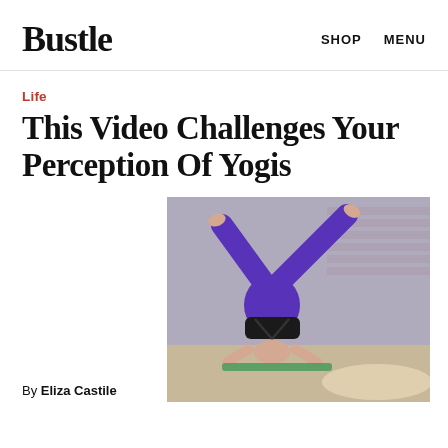Bustle   SHOP   MENU
Life
This Video Challenges Your Perception Of Yogis
[Figure (photo): A person wearing purple leggings and a black sports bra performing a headstand yoga pose with legs split wide open, on a mat in an industrial-looking space with brick walls.]
By Eliza Castile